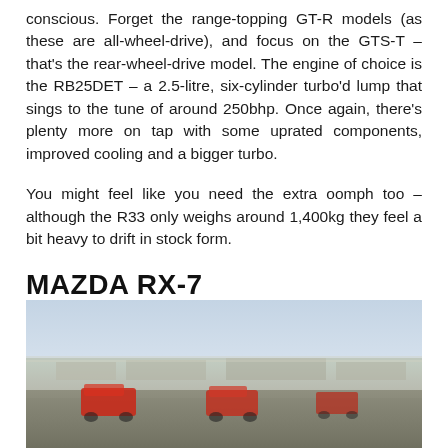conscious. Forget the range-topping GT-R models (as these are all-wheel-drive), and focus on the GTS-T – that's the rear-wheel-drive model. The engine of choice is the RB25DET – a 2.5-litre, six-cylinder turbo'd lump that sings to the tune of around 250bhp. Once again, there's plenty more on tap with some uprated components, improved cooling and a bigger turbo.
You might feel like you need the extra oomph too – although the R33 only weighs around 1,400kg they feel a bit heavy to drift in stock form.
MAZDA RX-7
[Figure (photo): Photo of racing cars (red/orange) on a race track, taken from a distance, with sky and track surroundings visible.]